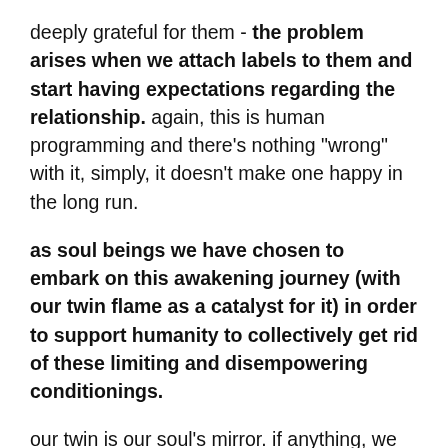deeply grateful for them - the problem arises when we attach labels to them and start having expectations regarding the relationship. again, this is human programming and there's nothing "wrong" with it, simply, it doesn't make one happy in the long run.
as soul beings we have chosen to embark on this awakening journey (with our twin flame as a catalyst for it) in order to support humanity to collectively get rid of these limiting and disempowering conditionings.
our twin is our soul's mirror. if anything, we should romanticise on our soul's light and on the